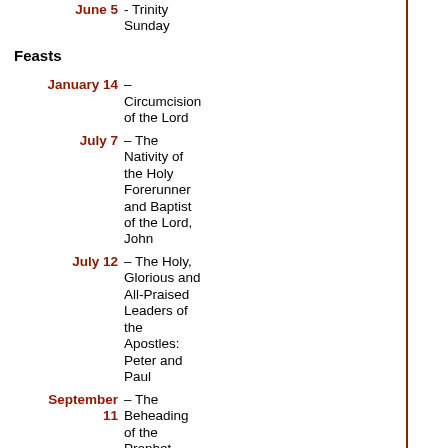| Date | Event |
| --- | --- |
| June 5 | - Trinity Sunday |
|  | Feasts |
| January 14 | – Circumcision of the Lord |
| July 7 | – The Nativity of the Holy Forerunner and Baptist of the Lord, John |
| July 12 | – The Holy, Glorious and All-Praised Leaders of the Apostles: Peter and Paul |
| September 11 | – The Beheading of the Prophet, Forerunner of the Lord, John the Baptist |
|  | – Protection of Our Most... |